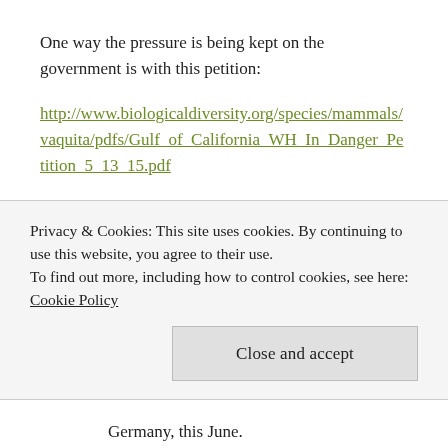One way the pressure is being kept on the government is with this petition:
http://www.biologicaldiversity.org/species/mammals/vaquita/pdfs/Gulf_of_California_WH_In_Danger_Petition_5_13_15.pdf
‘U.S. conservation groups petitioned the World Heritage Committee today to designate more than 6,900 square miles of ocean and islands in northern
Privacy & Cookies: This site uses cookies. By continuing to use this website, you agree to their use.
To find out more, including how to control cookies, see here: Cookie Policy
Close and accept
Germany, this June.